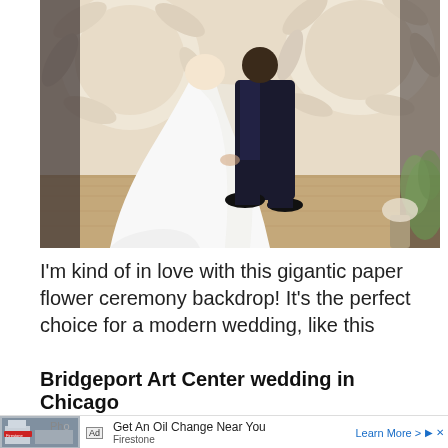[Figure (photo): Wedding photo showing a bride in a white dress and groom in a dark suit standing on a dance floor in front of a large decorative paper flower backdrop]
I'm kind of in love with this gigantic paper flower ceremony backdrop! It's the perfect choice for a modern wedding, like this
Bridgeport Art Center wedding in Chicago
[Figure (screenshot): Advertisement bar: Ad label, image of Firestone store, text 'Get An Oil Change Near You', brand 'Firestone', 'Learn More >' link]